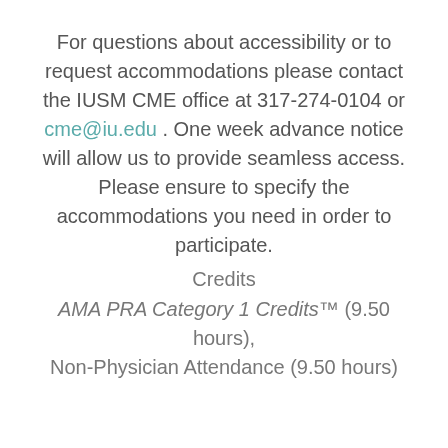For questions about accessibility or to request accommodations please contact the IUSM CME office at 317-274-0104 or cme@iu.edu . One week advance notice will allow us to provide seamless access. Please ensure to specify the accommodations you need in order to participate.
Credits
AMA PRA Category 1 Credits™ (9.50 hours), Non-Physician Attendance (9.50 hours)